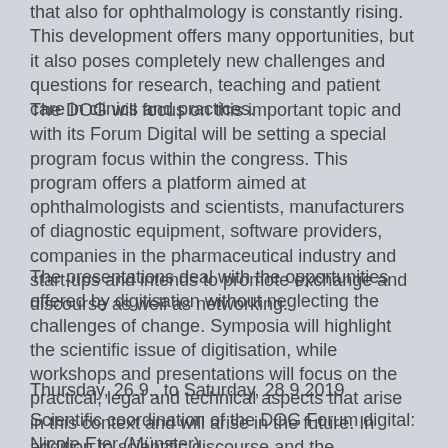that also for ophthalmology is constantly rising. This development offers many opportunities, but it also poses completely new challenges and questions for research, teaching and patient care in clinics and practices.
The DOG will focus on this important topic and with its Forum Digital will be setting a special program focus within the congress. This program offers a platform aimed at ophthalmologists and scientists, manufacturers of diagnostic equipment, software providers, companies in the pharmaceutical industry and start-ups and intends to promote exchange and discourse as well as networking.
The presentations deal with the opportunities offered by digitisation without neglecting the challenges of change. Symposia will highlight the scientific issue of digitisation, while workshops and presentations will focus on the practical, legal and technical aspects that arise in this context and will arise in the future. In addition to scientific discourse and the communication of information, there will also be room for exchange.
Thursday, 26.9., to Saturday, 28.9.2019
Scientific coordination of the DOG Forum digital:
Nicole Eter (Münster)
Karsten Kortüm (München)